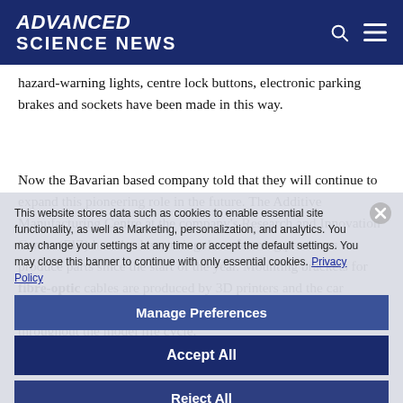ADVANCED SCIENCE NEWS
hazard-warning lights, centre lock buttons, electronic parking brakes and sockets have been made in this way.
Now the Bavarian based company told that they will continue to expand this pioneering role in the future. The Additive Manufacturing Centre at the company's Research and Innovation Centre (FIZ) has also been using these forming processes to produce parts since the start of the year. Mounting brackets for fibre-optic cables are produced by 3D printers and the car manufacturer will install several thousand of these clips throughout the model life cycle.
This website stores data such as cookies to enable essential site functionality, as well as Marketing, personalization, and analytics. You may change your settings at any time or accept the default settings. You may close this banner to continue with only essential cookies. Privacy Policy
Manage Preferences
Accept All
Reject All
The BMW Group is steadily pursuing the